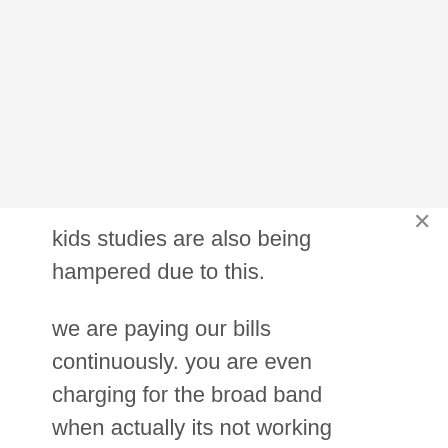kids studies are also being hampered due to this.
we are paying our bills continuously. you are even charging for the broad band when actually its not working due to your cable fault, why am i being charged? refund my 5 months broadband money.this is not appreciated at all. you may come and disconnect our line. we are not interested in such a filthy and irresponsible company.